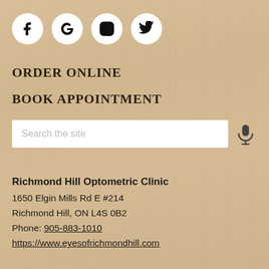[Figure (other): Four social media icon circles in a row: Facebook (f), Google (G), Instagram (camera outline), Twitter (bird)]
ORDER ONLINE
BOOK APPOINTMENT
[Figure (other): Search bar with placeholder text 'Search the site' and a microphone icon to the right]
Richmond Hill Optometric Clinic
1650 Elgin Mills Rd E #214
Richmond Hill, ON L4S 0B2
Phone: 905-883-1010
https://www.eyesofrichmondhill.com